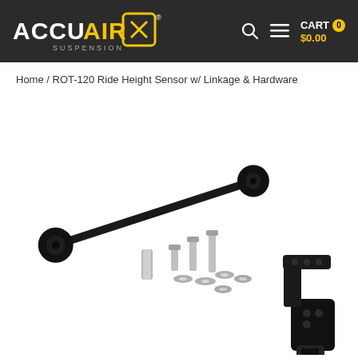AccuAir Suspension — CART 0 $0.00
Home / ROT-120 Ride Height Sensor w/ Linkage & Hardware
[Figure (photo): Product photo of ROT-120 Ride Height Sensor with linkage rod, mounting bracket arm, and assorted hardware (bolts, washers, nuts, spacer) laid out on white background.]